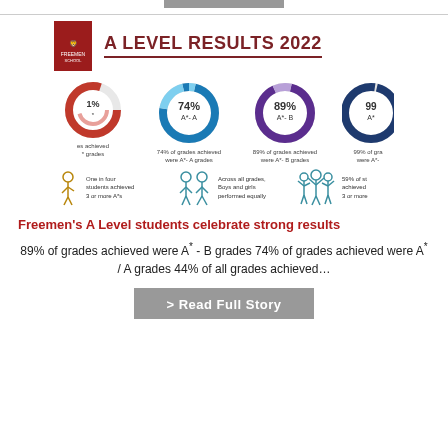[Figure (infographic): A Level Results 2022 infographic with school logo, four donut charts (74% A*-A, 89% A*-B, 99% A*-), and three icon statistics about student performance]
Freemen's A Level students celebrate strong results
89% of grades achieved were A* - B grades 74% of grades achieved were A* / A grades 44% of all grades achieved...
[Figure (other): Read Full Story button]